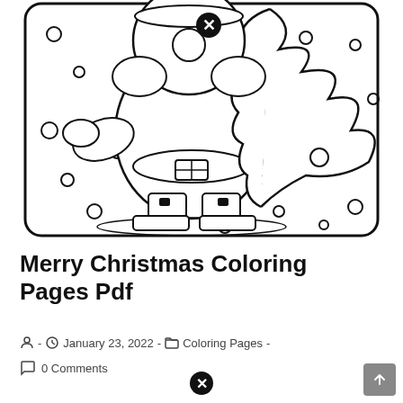[Figure (illustration): A Christmas coloring page showing a cartoon Santa Claus figure with a Christmas tree, surrounded by snow circles/dots, inside a rounded rectangle border. Black and white line art for coloring. There is also a small X/close button circle overlay on the image.]
Merry Christmas Coloring Pages Pdf
January 23, 2022 - Coloring Pages - 0 Comments